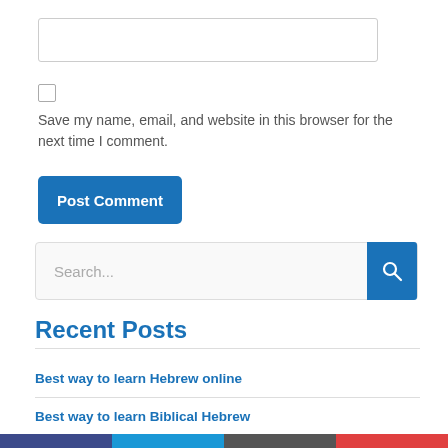[input field]
[checkbox]
Save my name, email, and website in this browser for the next time I comment.
Post Comment
Search...
Recent Posts
Best way to learn Hebrew online
Best way to learn Biblical Hebrew
Best books for learning Hebrew